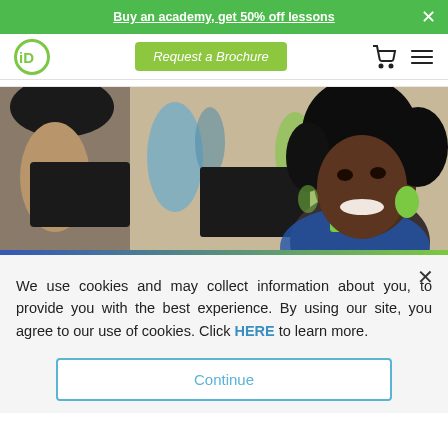Buy an academy, get 50% off lessons
[Figure (logo): iD Tech logo - circular green logo with 'iD' text]
Request a Brochure
[Figure (photo): A smiling young Black woman with curly hair and green hoop earrings sitting at a laptop in a classroom setting]
We use cookies and may collect information about you, to provide you with the best experience. By using our site, you agree to our use of cookies. Click HERE to learn more.
Continue